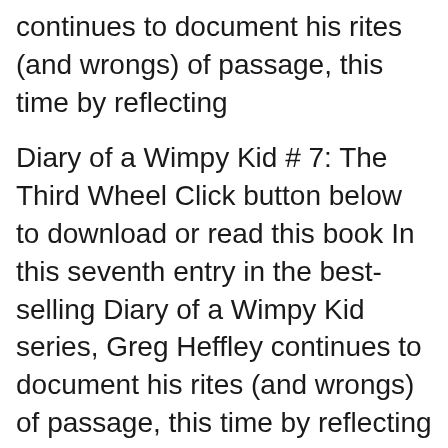continues to document his rites (and wrongs) of passage, this time by reflecting
Diary of a Wimpy Kid # 7: The Third Wheel Click button below to download or read this book In this seventh entry in the best-selling Diary of a Wimpy Kid series, Greg Heffley continues to document his rites (and wrongs) of passage, this time by reflecting
Join Greg Heffley in the seventh book in Jeff Kinney's hilarious Diary of a Wimpy Kid series! When you live in a house with four other people, some fool is always In this seventh entry in the best-selling Diary of a Wimpy Kid series,